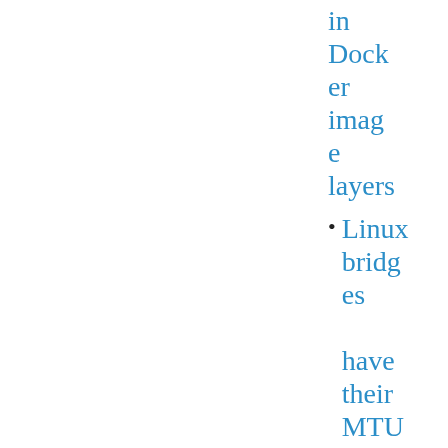in Docker image layers
Linux bridges have their MTU overwritten when